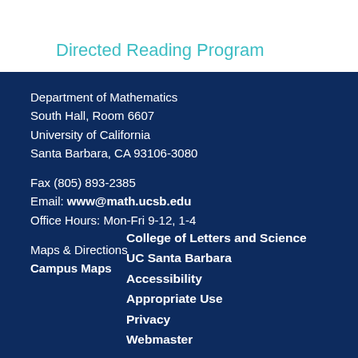Directed Reading Program
Department of Mathematics
South Hall, Room 6607
University of California
Santa Barbara, CA 93106-3080
Fax (805) 893-2385
Email: www@math.ucsb.edu
Office Hours: Mon-Fri 9-12, 1-4
Maps & Directions
Campus Maps
College of Letters and Science
UC Santa Barbara
Accessibility
Appropriate Use
Privacy
Webmaster